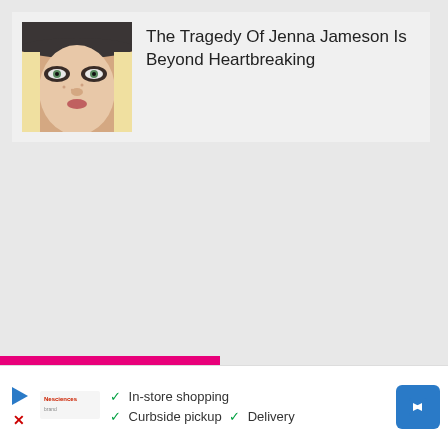[Figure (photo): Close-up photo of a woman with blonde hair, wearing a black hat, with dramatic eye makeup]
The Tragedy Of Jenna Jameson Is Beyond Heartbreaking
[Figure (infographic): Advertisement bar with play button, X close button, brand logo, checkmarks listing In-store shopping, Curbside pickup, Delivery, and a blue navigation arrow icon]